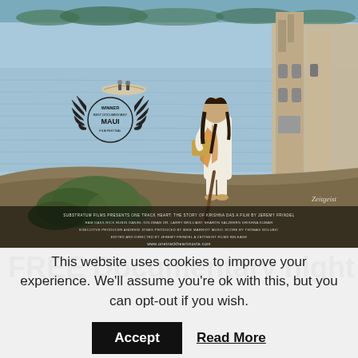[Figure (photo): Movie poster for 'One Track Heart: The Story of Krishna Das'. A man in white robes with an orange scarf stands on rocks near a river with a boat in the background and a temple-like structure to the right. Lower left shows a laurel badge: 'WINNER BEST DOCUMENTARY MAUI FILM FESTIVAL'. Bottom text credits and website: www.onetrackheartmovie.com. Produced by Substratum Films.]
FREE Documentary night at
This website uses cookies to improve your experience. We'll assume you're ok with this, but you can opt-out if you wish.
Accept   Read More